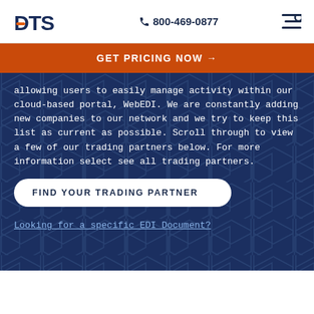DTS  📞 800-469-0877
GET PRICING NOW →
allowing users to easily manage activity within our cloud-based portal, WebEDI. We are constantly adding new companies to our network and we try to keep this list as current as possible. Scroll through to view a few of our trading partners below. For more information select see all trading partners.
FIND YOUR TRADING PARTNER
Looking for a specific EDI Document?